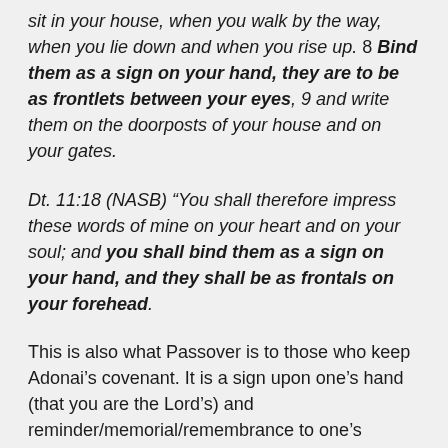sit in your house, when you walk by the way, when you lie down and when you rise up. 8 Bind them as a sign on your hand, they are to be as frontlets between your eyes, 9 and write them on the doorposts of your house and on your gates.
Dt. 11:18 (NASB) “You shall therefore impress these words of mine on your heart and on your soul; and you shall bind them as a sign on your hand, and they shall be as frontals on your forehead.
This is also what Passover is to those who keep Adonai’s covenant. It is a sign upon one’s hand (that you are the Lord’s) and reminder/memorial/remembrance to one’s